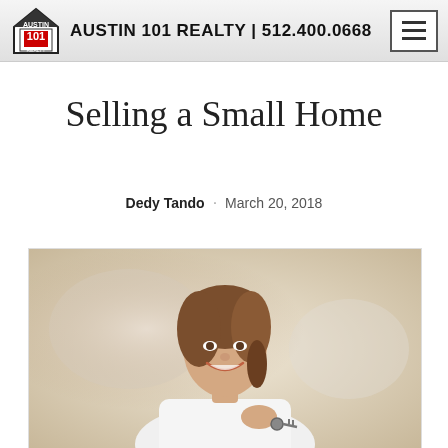AUSTIN 101 REALTY | 512.400.0668
Selling a Small Home
Dedy Tando · March 20, 2018
[Figure (photo): Smiling young woman with brown hair holding keys, wearing white, with a blurred indoor background — representing a home seller or real estate agent.]